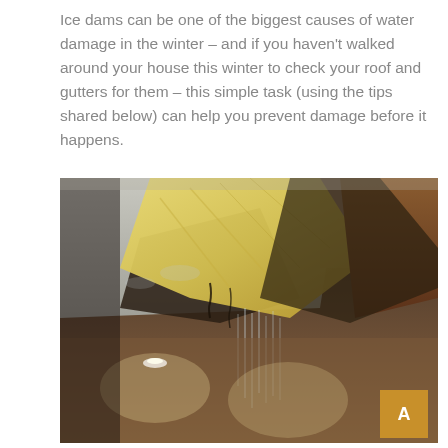Ice dams can be one of the biggest causes of water damage in the winter – and if you haven't walked around your house this winter to check your roof and gutters for them – this simple task (using the tips shared below) can help you prevent damage before it happens.
[Figure (photo): Close-up photo of water damage from an ice dam: yellow fiberglass insulation is exposed where the ceiling has been breached, dark water stains are visible, and water drips down from the damaged area into a dimly lit room with recessed lighting.]